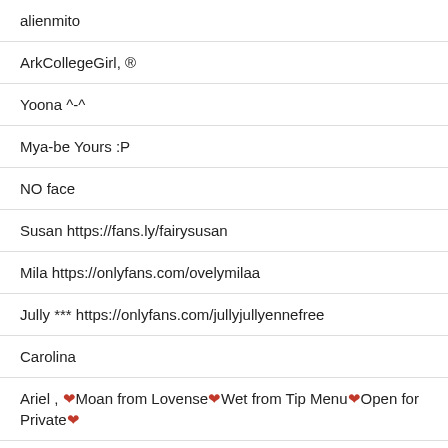alienmito
ArkCollegeGirl, ®
Yoona ^-^
Mya-be Yours :P
NO face
Susan https://fans.ly/fairysusan
Mila https://onlyfans.com/ovelymilaa
Jully *** https://onlyfans.com/jullyjullyennefree
Carolina
Ariel , ❤Moan from Lovense❤Wet from Tip Menu❤Open for Private❤
https://fansly.com/Not_YourGirl
Hi hi , 🧡 I'm Emely❤Let's have some fun together❤Free lovens control in pvt!<3